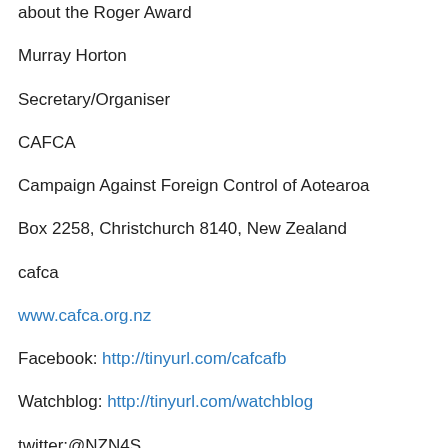about the Roger Award
Murray Horton
Secretary/Organiser
CAFCA
Campaign Against Foreign Control of Aotearoa
Box 2258, Christchurch 8140, New Zealand
cafca
www.cafca.org.nz
Facebook: http://tinyurl.com/cafcafb
Watchblog: http://tinyurl.com/watchblog
twitter:@NZN4S